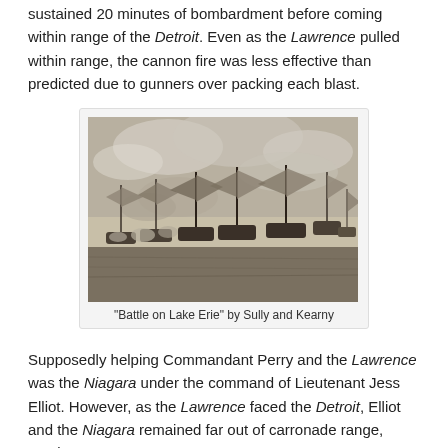sustained 20 minutes of bombardment before coming within range of the Detroit. Even as the Lawrence pulled within range, the cannon fire was less effective than predicted due to gunners over packing each blast.
[Figure (illustration): Engraving of the Battle on Lake Erie showing multiple sailing ships engaged in battle on the water, with smoke and clouds in the background. Caption reads: "Battle on Lake Erie" by Sully and Kearny]
"Battle on Lake Erie" by Sully and Kearny
Supposedly helping Commandant Perry and the Lawrence was the Niagara under the command of Lieutenant Jess Elliot. However, as the Lawrence faced the Detroit, Elliot and the Niagara remained far out of carronade range, proving to